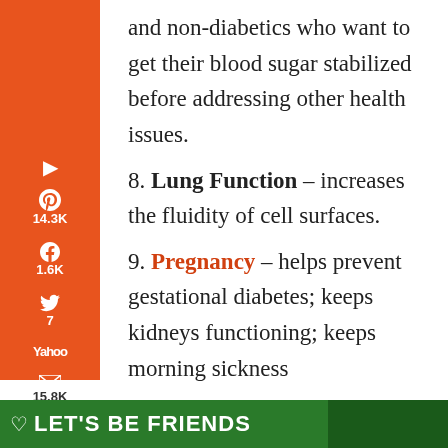and non-diabetics who want to get their blood sugar stabilized before addressing other health issues.
8. Lung Function – increases the fluidity of cell surfaces.
9. Pregnancy – helps prevent gestational diabetes; keeps kidneys functioning; keeps morning sickness
[Figure (screenshot): Social media share sidebar with Pinterest (14.3K), Facebook (1.6K), Twitter (7), Yahoo, Email, Print icons in orange. Bottom shows 15.8K SHARES.]
[Figure (infographic): Green advertisement banner at bottom: LET'S BE FRIENDS with a husky dog photo]